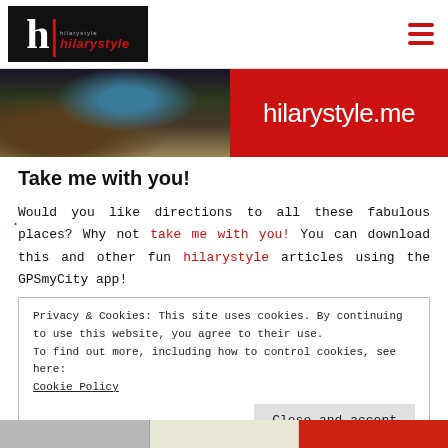hilarystyle
[Figure (screenshot): Website banner showing a dark illustrated image on the left and a red banner with 'hilarystyle.me' text on the right]
Take me with you!
Would you like directions to all these fabulous places? Why not take me with you! You can download this and other fun hilarystyle articles using the GPSMyCity app!
Privacy & Cookies: This site uses cookies. By continuing to use this website, you agree to their use.
To find out more, including how to control cookies, see here:
Cookie Policy
Close and accept
[Figure (screenshot): Bottom strip showing partial images]